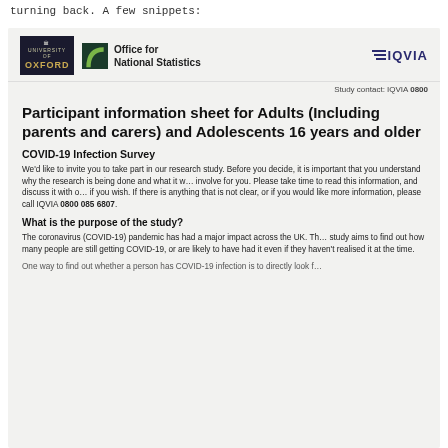turning back. A few snippets:
[Figure (logo): University of Oxford logo, Office for National Statistics logo, and IQVIA logo in a document header band]
Study contact: IQVIA 0800
Participant information sheet for Adults (Including parents and carers) and Adolescents 16 years and older
COVID-19 Infection Survey
We'd like to invite you to take part in our research study. Before you decide, it is important that you understand why the research is being done and what it will involve for you. Please take time to read this information, and discuss it with others if you wish. If there is anything that is not clear, or if you would like more information, please call IQVIA 0800 085 6807.
What is the purpose of the study?
The coronavirus (COVID-19) pandemic has had a major impact across the UK. The study aims to find out how many people are still getting COVID-19, or are likely to have had it even if they haven't realised it at the time.
One way to find out whether a person has COVID-19 infection is to directly look f…